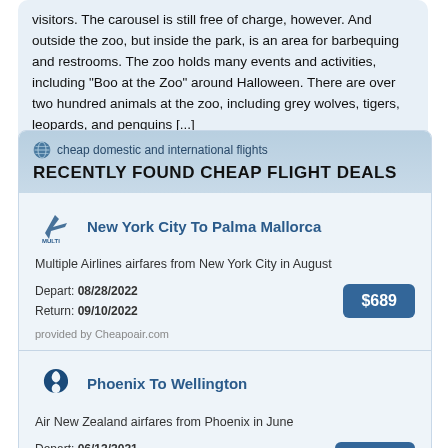visitors. The carousel is still free of charge, however. And outside the zoo, but inside the park, is an area for barbequing and restrooms. The zoo holds many events and activities, including "Boo at the Zoo" around Halloween. There are over two hundred animals at the zoo, including grey wolves, tigers, leopards, and penguins [...]
cheap domestic and international flights
RECENTLY FOUND CHEAP FLIGHT DEALS
New York City To Palma Mallorca
Multiple Airlines airfares from New York City in August
Depart: 08/28/2022
Return: 09/10/2022
$689
provided by Cheapoair.com
Phoenix To Wellington
Air New Zealand airfares from Phoenix in June
Depart: 06/12/2021
Return: 06/17/2021
$2697
provided by Cheapoair.com